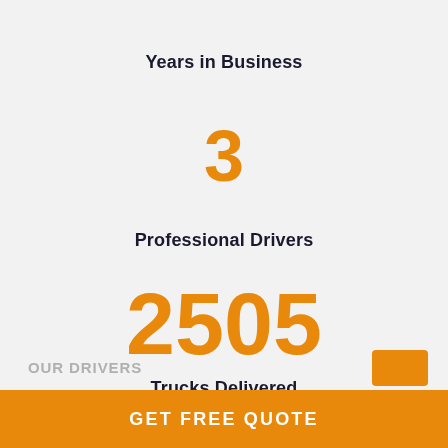Years in Business
3
Professional Drivers
2505
Trucks Delivered
OUR DRIVERS
GET FREE QUOTE